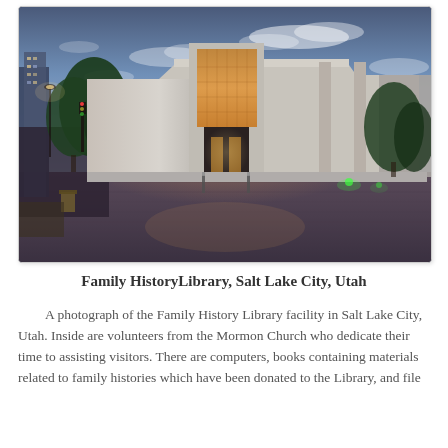[Figure (photo): Exterior photograph of the Family History Library building in Salt Lake City, Utah, taken at dusk/evening. The modern white concrete building has a large illuminated glass entrance. Trees are visible on both sides, there are streetlights and traffic lights to the left, and the sky shows clouds at twilight. The building forecourt has brick paving.]
Family HistoryLibrary, Salt Lake City, Utah
A photograph of the Family History Library facility in Salt Lake City, Utah. Inside are volunteers from the Mormon Church who dedicate their time to assisting visitors. There are computers, books containing materials related to family histories which have been donated to the Library, and file